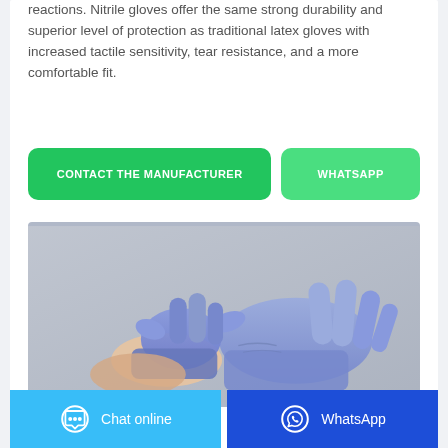reactions. Nitrile gloves offer the same strong durability and superior level of protection as traditional latex gloves with increased tactile sensitivity, tear resistance, and a more comfortable fit.
[Figure (other): Two green CONTACT THE MANUFACTURER and WHATSAPP call-to-action buttons]
[Figure (photo): Hands wearing blue/purple nitrile disposable gloves against a grey background]
[Figure (other): Footer bar with Chat online (blue) and WhatsApp (dark blue) buttons with icons]